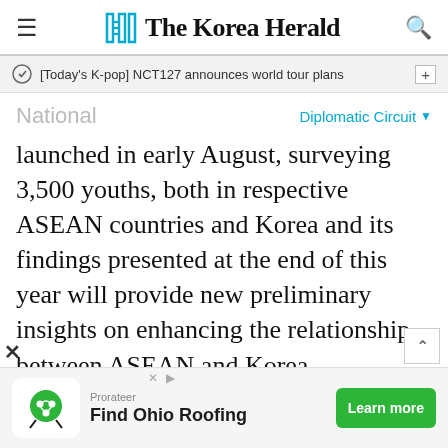The Korea Herald
[Today's K-pop] NCT127 announces world tour plans
National
Diplomatic Circuit
launched in early August, surveying 3,500 youths, both in respective ASEAN countries and Korea and its findings presented at the end of this year will provide new preliminary insights on enhancing the relationship between ASEAN and Korea.
The survey would help to meet the future economic and sociocultural needs of the
Find Ohio Roofing